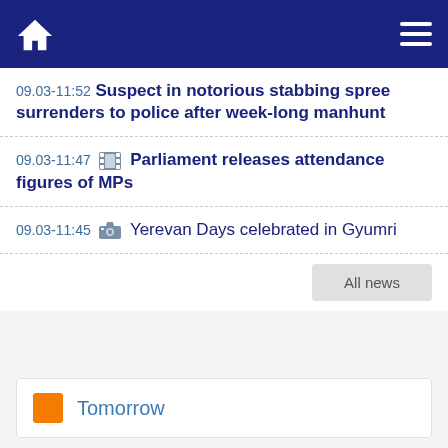Home | Menu
09.03-11:52 Suspect in notorious stabbing spree surrenders to police after week-long manhunt
09.03-11:47 [film icon] Parliament releases attendance figures of MPs
09.03-11:45 [camera icon] Yerevan Days celebrated in Gyumri
All news
Tomorrow